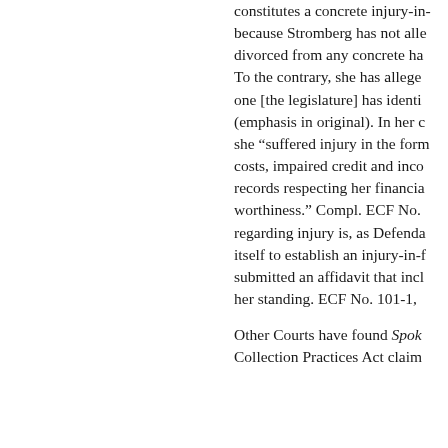constitutes a concrete injury-in-fact because Stromberg has not alleged divorced from any concrete harm. To the contrary, she has alleged one [the legislature] has identified (emphasis in original). In her complaint she "suffered injury in the form of costs, impaired credit and inco records respecting her financial worthiness." Compl. ECF No. regarding injury is, as Defendant itself to establish an injury-in-fact submitted an affidavit that includes her standing. ECF No. 101-1, Other Courts have found Spok Collection Practices Act claim